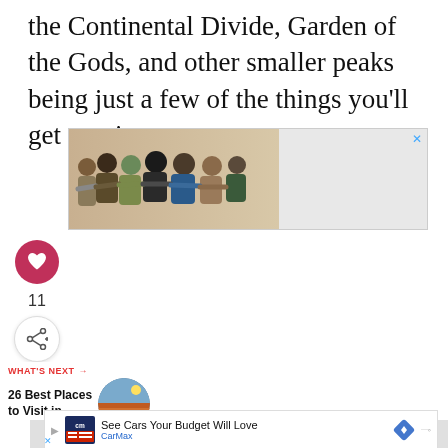the Continental Divide, Garden of the Gods, and other smaller peaks being just a few of the things you’ll get to witness.
[Figure (photo): Advertisement banner showing a group of people with arms around each other, backs to camera, with text 'We Stand Together' on right side]
[Figure (infographic): Heart (like) button in crimson circle]
11
[Figure (infographic): Share button icon]
WHAT’S NEXT →
26 Best Places to Visit in...
[Figure (photo): Circular thumbnail image showing landscape/canyon scene]
[Figure (infographic): CarMax advertisement banner: See Cars Your Budget Will Love - CarMax]
See Cars Your Budget Will Love
CarMax